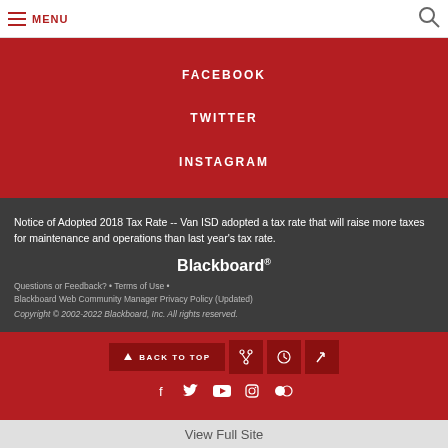MENU
FACEBOOK
TWITTER
INSTAGRAM
Notice of Adopted 2018 Tax Rate -- Van ISD adopted a tax rate that will raise more taxes for maintenance and operations than last year's tax rate.
[Figure (logo): Blackboard logo with registered trademark symbol]
Questions or Feedback?  •  Terms of Use  •  Blackboard Web Community Manager Privacy Policy (Updated)
Copyright © 2002-2022 Blackboard, Inc. All rights reserved.
BACK TO TOP
View Full Site